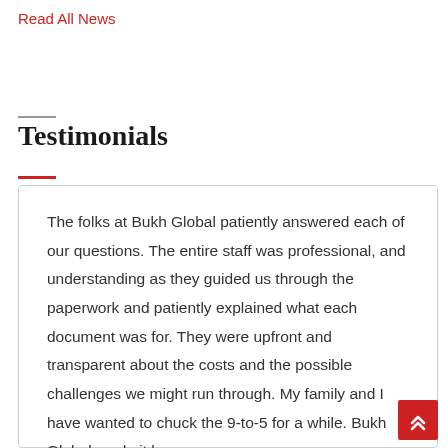Read All News
Testimonials
The folks at Bukh Global patiently answered each of our questions. The entire staff was professional, and understanding as they guided us through the paperwork and patiently explained what each document was for. They were upfront and transparent about the costs and the possible challenges we might run through. My family and I have wanted to chuck the 9-to-5 for a while. Bukh Global made it happen.